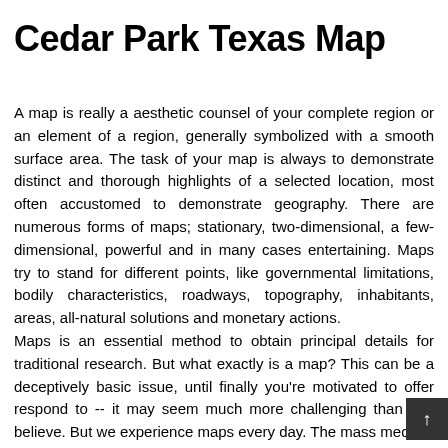Cedar Park Texas Map
A map is really a aesthetic counsel of your complete region or an element of a region, generally symbolized with a smooth surface area. The task of your map is always to demonstrate distinct and thorough highlights of a selected location, most often accustomed to demonstrate geography. There are numerous forms of maps; stationary, two-dimensional, a few-dimensional, powerful and in many cases entertaining. Maps try to stand for different points, like governmental limitations, bodily characteristics, roadways, topography, inhabitants, areas, all-natural solutions and monetary actions.
Maps is an essential method to obtain principal details for traditional research. But what exactly is a map? This can be a deceptively basic issue, until finally you're motivated to offer respond to -- it may seem much more challenging than you believe. But we experience maps every day. The mass media…